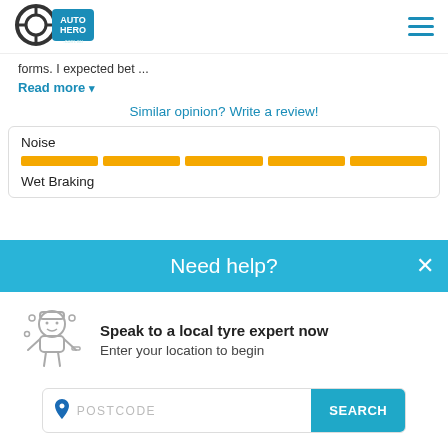[Figure (logo): Auto Hero .com.au logo with tire icon]
forms. I expected bet ...
Read more ▾
Similar opinion? Write a review!
Noise
[Figure (infographic): 5-segment orange/yellow rating bar for Noise]
Wet Braking
Need help?
[Figure (illustration): Mechanic/tyre expert cartoon icon]
Speak to a local tyre expert now
Enter your location to begin
POSTCODE
SEARCH
Load more